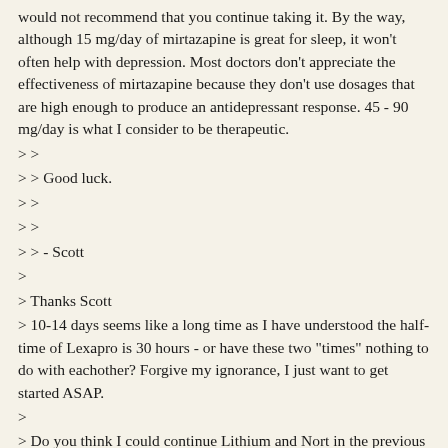would not recommend that you continue taking it. By the way, although 15 mg/day of mirtazapine is great for sleep, it won't often help with depression. Most doctors don't appreciate the effectiveness of mirtazapine because they don't use dosages that are high enough to produce an antidepressant response. 45 - 90 mg/day is what I consider to be therapeutic.
> >
> > Good luck.
> >
> >
> > - Scott
>
> Thanks Scott
> 10-14 days seems like a long time as I have understood the half-time of Lexapro is 30 hours - or have these two "times" nothing to do with eachother? Forgive my ignorance, I just want to get started ASAP.
>
> Do you think I could continue Lithium and Nort in the previous doses or should they just be taken as add-ons?
>
> gpznos